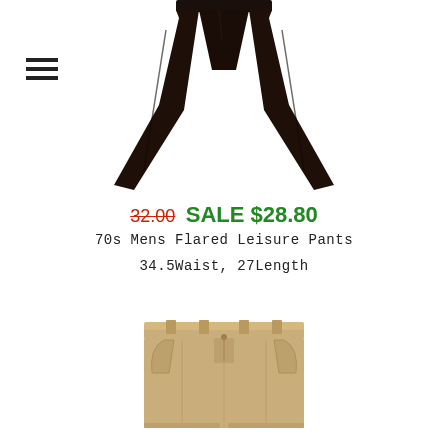[Figure (photo): Dark brown/black flared men's leisure pants from the 70s, shown folded at top of image]
32.00  SALE $28.80
70s Mens Flared Leisure Pants
34.5Waist, 27Length
[Figure (photo): Khaki/tan colored pants shown from front waist view]